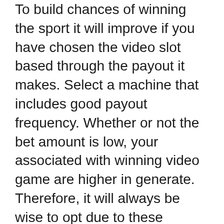To build chances of winning the sport it will improve if you have chosen the video slot based through the payout it makes. Select a machine that includes good payout frequency. Whether or not the bet amount is low, your associated with winning video game are higher in generate. Therefore, it will always be wise to opt due to these machines. While the risk or difficulty of winning online game is low, you will not lose a lump sum amount of cash even if you're lose recreation. Thus, it will not affect your balance.
Just for a drug addict needs a consistently increasing supply of drugs to perform the same high, so a Gambling addict finds himself betting more and other – not for